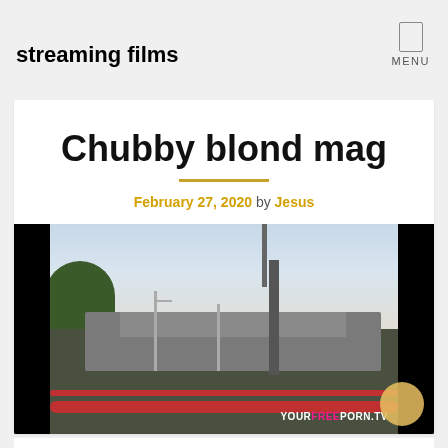streaming films
Chubby blond mag
February 27, 2020 by Jesus
[Figure (screenshot): Video thumbnail showing a highway overpass/bridge structure with a tall transmission tower, street lamps, a tree on the left, a hill in the background, red railings in the foreground, and a 'YOURFREEPORN.TV' watermark in the bottom right corner. The image has black bars on the left and right sides.]